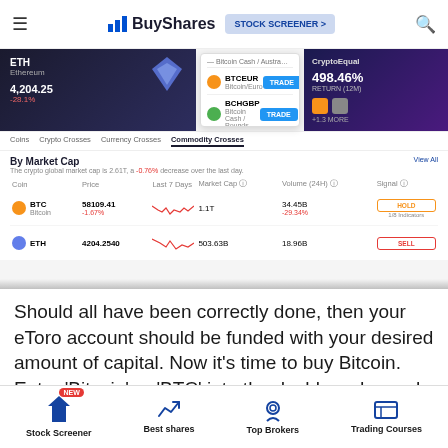BuyShares — STOCK SCREENER >
[Figure (screenshot): Screenshot of a cryptocurrency exchange platform showing ETH price 4,204.25, BTCEUR and BCHGBP trading pairs with TRADE buttons, a CryptoEqual advertisement showing 498.46% return, tabs for Coins/Crypto Crosses/Currency Crosses/Commodity Crosses, a By Market Cap table with BTC at 58109.41 (market cap 1.1T, volume 34.45B) and ETH at 4204.2540 (market cap 503.63B, volume 18.96B), signals for HOLD and SELL]
Should all have been correctly done, then your eToro account should be funded with your desired amount of capital. Now it’s time to buy Bitcoin. Enter ‘Bitcoin’ or ‘BTC’ into the dashboard search box at the top of the page, and click on the top result (example below).
Stock Screener  Best shares  Top Brokers  Trading Courses